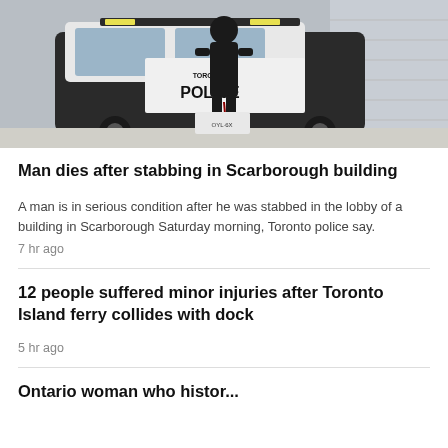[Figure (photo): A Toronto Police officer in dark uniform standing in front of a Toronto Police SUV vehicle, viewed from behind/side, outdoors on a street with yellow police tape visible in background.]
Man dies after stabbing in Scarborough building
A man is in serious condition after he was stabbed in the lobby of a building in Scarborough Saturday morning, Toronto police say.
7 hr ago
12 people suffered minor injuries after Toronto Island ferry collides with dock
5 hr ago
Ontario woman whohistor...